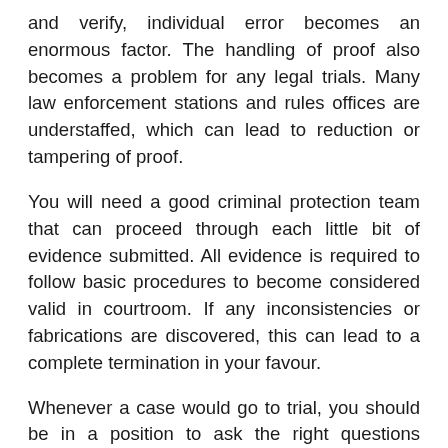and verify, individual error becomes an enormous factor. The handling of proof also becomes a problem for any legal trials. Many law enforcement stations and rules offices are understaffed, which can lead to reduction or tampering of proof.
You will need a good criminal protection team that can proceed through each little bit of evidence submitted. All evidence is required to follow basic procedures to become considered valid in courtroom. If any inconsistencies or fabrications are discovered, this can lead to a complete termination in your favour.
Whenever a case would go to trial, you should be in a position to ask the right questions regarding testimonies and proof. Any openings or contradictions uncovered in the prosecution can sway a verdict. Proof